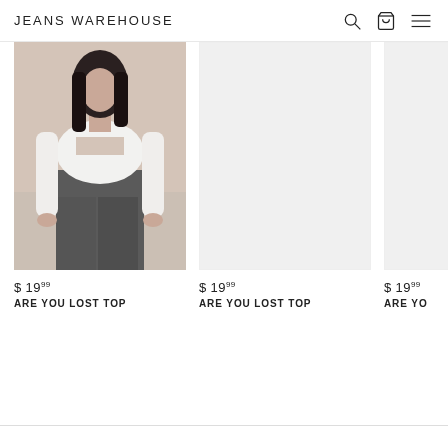JEANS WAREHOUSE
[Figure (photo): Fashion model wearing a white long-sleeve crop top with a cutout and dark pants, product photo for Are You Lost Top]
$ 19.99
ARE YOU LOST TOP
[Figure (photo): Empty product image placeholder for Are You Lost Top]
$ 19.99
ARE YOU LOST TOP
[Figure (photo): Partially visible product image for Are You Lost Top (cropped at right edge)]
$ 19.99
ARE YO